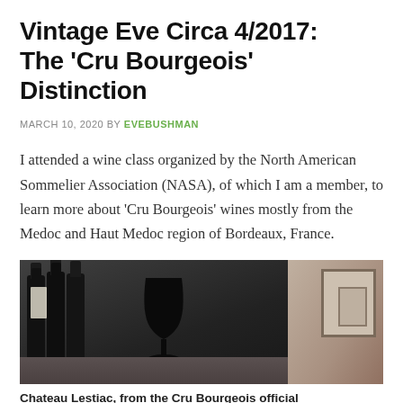Vintage Eve Circa 4/2017: The ‘Cru Bourgeois’ Distinction
MARCH 10, 2020 BY EVEBUSHMAN
I attended a wine class organized by the North American Sommelier Association (NASA), of which I am a member, to learn more about ‘Cru Bourgeois’ wines mostly from the Medoc and Haut Medoc region of Bordeaux, France.
[Figure (photo): A silhouetted wine glass on a counter with dark wine bottles on the left, and a second photo partially visible on the right showing a room interior with frames on the wall.]
Chateau Lestiac, from the Cru Bourgeois official